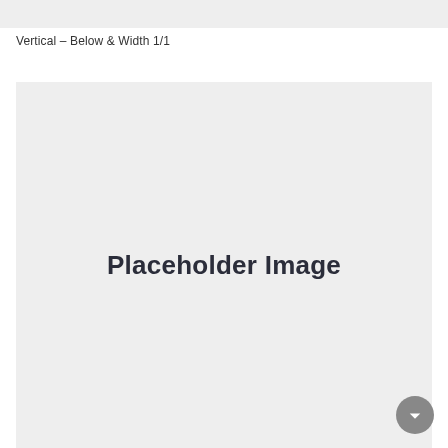[Figure (other): Gray horizontal image strip at the top of the page]
Vertical – Below & Width 1/1
[Figure (other): Large gray placeholder image box with centered text reading 'Placeholder Image']